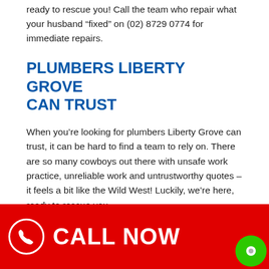ready to rescue you! Call the team who repair what your husband “fixed” on (02) 8729 0774 for immediate repairs.
PLUMBERS LIBERTY GROVE CAN TRUST
When you’re looking for plumbers Liberty Grove can trust, it can be hard to find a team to rely on. There are so many cowboys out there with unsafe work practice, unreliable work and untrustworthy quotes – it feels a bit like the Wild West! Luckily, we’re here, ready to rescue you.
Because our team are professionals, the safety of our priority. We will identify and rds in work sites, and tice safety protocols to ensure that your property is kept safe.
[Figure (other): Red CALL NOW button banner with phone icon, and green chat bubble in bottom right corner]